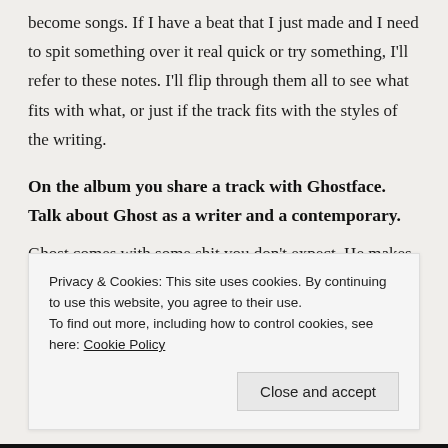become songs. If I have a beat that I just made and I need to spit something over it real quick or try something, I'll refer to these notes. I'll flip through them all to see what fits with what, or just if the track fits with the styles of the writing.
On the album you share a track with Ghostface. Talk about Ghost as a writer and a contemporary.
Ghost comes with some shit you don't expect. He makes things relatable by being vivid and
Privacy & Cookies: This site uses cookies. By continuing to use this website, you agree to their use.
To find out more, including how to control cookies, see here: Cookie Policy